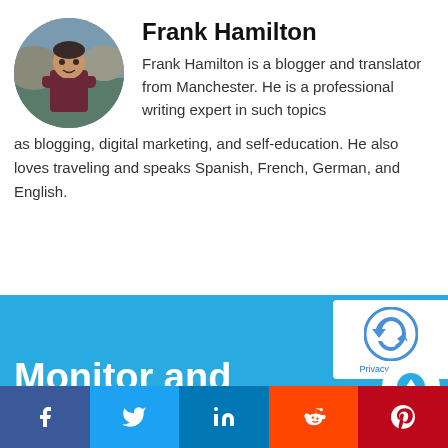[Figure (photo): Circular profile photo of Frank Hamilton, a man with arms crossed standing in front of a rocky background]
Frank Hamilton
Frank Hamilton is a blogger and translator from Manchester. He is a professional writing expert in such topics as blogging, digital marketing, and self-education. He also loves traveling and speaks Spanish, French, German, and English.
[Figure (screenshot): reCAPTCHA badge with Privacy and Terms links]
Monitor and analyze what's being said about
[Figure (infographic): Social sharing bar with Facebook, Twitter, LinkedIn, Reddit, and Pinterest buttons]